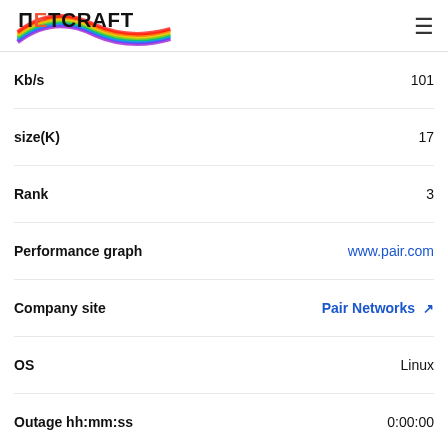Netcraft
| Field | Value |
| --- | --- |
| Kb/s | 101 |
| size(K) | 17 |
| Rank | 3 |
| Performance graph | www.pair.com |
| Company site | Pair Networks ↗ |
| OS | Linux |
| Outage hh:mm:ss | 0:00:00 |
| Failed Req% | 0.154 |
| DNS | 0.001 |
| Connect | 0.061 |